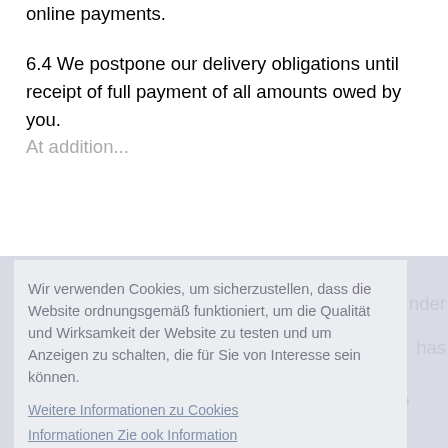online payments.
6.4 We postpone our delivery obligations until receipt of full payment of all amounts owed by you. At addition...
Wir verwenden Cookies, um sicherzustellen, dass die Website ordnungsgemäß funktioniert, um die Qualität und Wirksamkeit der Website zu testen und um Anzeigen zu schalten, die für Sie von Interesse sein können.
Weitere Informationen zu Cookies
Informationen Zie ook Information
OK!
4.2 It is your responsibility to enable delivery to the